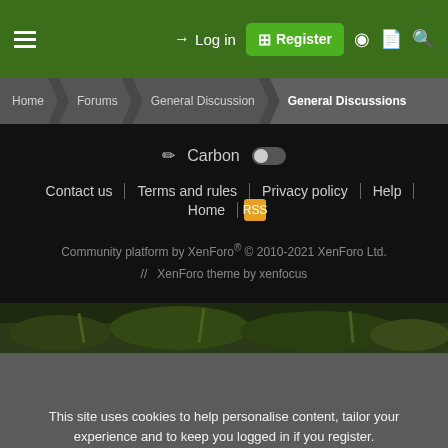Log in | Register | Home | Forums | General Discussion | General Discussions
Carbon (theme toggle)
Contact us | Terms and rules | Privacy policy | Help | Home
Community platform by XenForo® © 2010-2021 XenForo Ltd. // XenForo theme by xenfocus
[Figure (photo): Nature strip with green foliage]
This site uses cookies to help personalise content, tailor your experience and to keep you logged in if you register.
By continuing to use this site, you are consenting to our use of cookies.
Accept | Learn more...